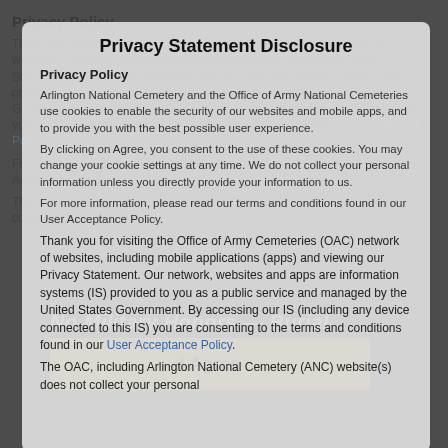[Figure (screenshot): Background of Arlington National Cemetery government website, partially visible behind a semi-transparent modal dialog. Shows text content and a yellow 'I Agree' button.]
Privacy Statement Disclosure
Privacy Policy
Arlington National Cemetery and the Office of Army National Cemeteries use cookies to enable the security of our websites and mobile apps, and to provide you with the best possible user experience.
By clicking on Agree, you consent to the use of these cookies. You may change your cookie settings at any time. We do not collect your personal information unless you directly provide your information to us.
For more information, please read our terms and conditions found in our User Acceptance Policy.
Thank you for visiting the Office of Army Cemeteries (OAC) network of websites, including mobile applications (apps) and viewing our Privacy Statement. Our network, websites and apps are information systems (IS) provided to you as a public service and managed by the United States Government. By accessing our IS (including any device connected to this IS) you are consenting to the terms and conditions found in our User Acceptance Policy.
The OAC, including Arlington National Cemetery (ANC) website(s) does not collect your personal